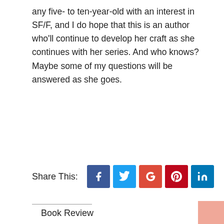any five- to ten-year-old with an interest in SF/F, and I do hope that this is an author who'll continue to develop her craft as she continues with her series. And who knows? Maybe some of my questions will be answered as she goes.
Share This:
[Figure (other): Social share buttons: Facebook, Twitter, Google+, Pinterest, LinkedIn]
Book Review